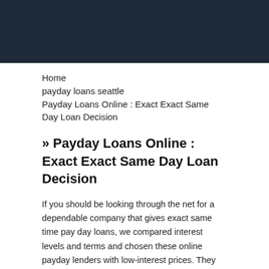Home
payday loans seattle
Payday Loans Online : Exact Exact Same Day Loan Decision
» Payday Loans Online : Exact Exact Same Day Loan Decision
If you should be looking through the net for a dependable company that gives exact same time pay day loans, we compared interest levels and terms and chosen these online payday lenders with low-interest prices. They